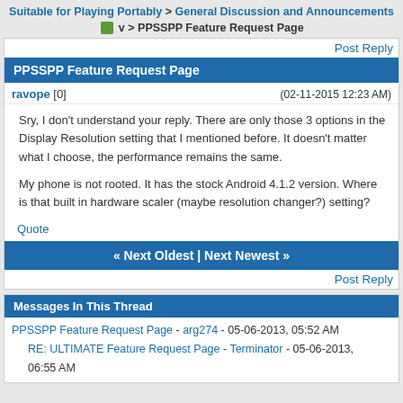Suitable for Playing Portably > General Discussion and Announcements v > PPSSPP Feature Request Page
Post Reply
PPSSPP Feature Request Page
ravope [0]   (02-11-2015 12:23 AM)
Sry, I don't understand your reply. There are only those 3 options in the Display Resolution setting that I mentioned before. It doesn't matter what I choose, the performance remains the same.

My phone is not rooted. It has the stock Android 4.1.2 version. Where is that built in hardware scaler (maybe resolution changer?) setting?
Quote
« Next Oldest | Next Newest »
Post Reply
Messages In This Thread
PPSSPP Feature Request Page - arg274 - 05-06-2013, 05:52 AM
RE: ULTIMATE Feature Request Page - Terminator - 05-06-2013, 06:55 AM